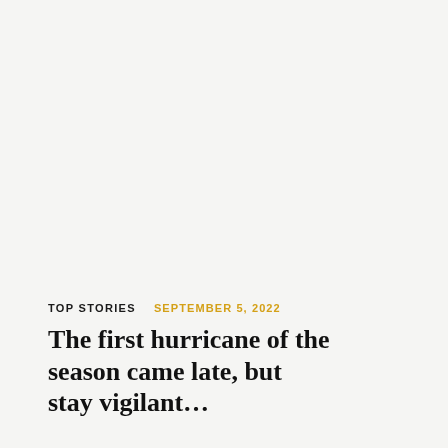TOP STORIES   SEPTEMBER 5, 2022
The first hurricane of the season came late, but stay vigilant…